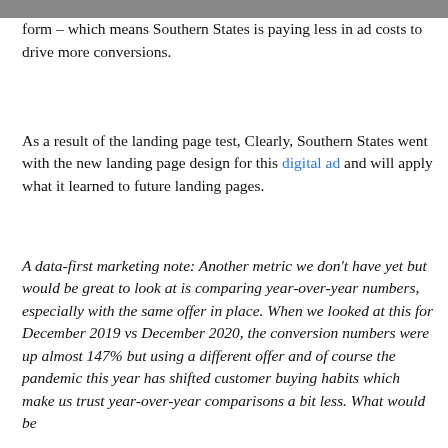form – which means Southern States is paying less in ad costs to drive more conversions.
As a result of the landing page test, Clearly, Southern States went with the new landing page design for this digital ad and will apply what it learned to future landing pages.
A data-first marketing note: Another metric we don't have yet but would be great to look at is comparing year-over-year numbers, especially with the same offer in place. When we looked at this for December 2019 vs December 2020, the conversion numbers were up almost 147% but using a different offer and of course the pandemic this year has shifted customer buying habits which make us trust year-over-year comparisons a bit less. What would be